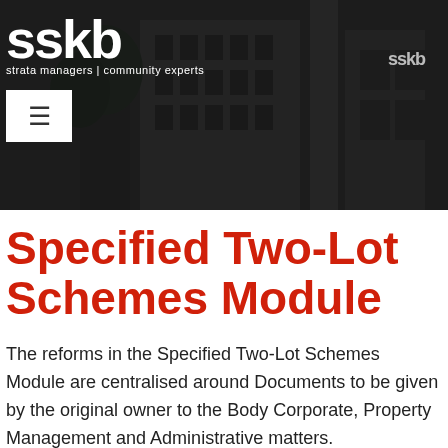[Figure (photo): Dark hero banner showing SSKB building exterior with SSKB logo and navigation menu button]
Specified Two-Lot Schemes Module
The reforms in the Specified Two-Lot Schemes Module are centralised around Documents to be given by the original owner to the Body Corporate, Property Management and Administrative matters.